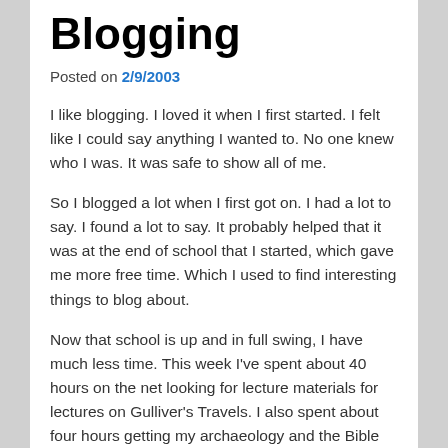Blogging
Posted on 2/9/2003
I like blogging. I loved it when I first started. I felt like I could say anything I wanted to. No one knew who I was. It was safe to show all of me.
So I blogged a lot when I first got on. I had a lot to say. I found a lot to say. It probably helped that it was at the end of school that I started, which gave me more free time. Which I used to find interesting things to blog about.
Now that school is up and in full swing, I have much less time. This week I've spent about 40 hours on the net looking for lecture materials for lectures on Gulliver's Travels. I also spent about four hours getting my archaeology and the Bible lesson ready for apologetics.
And since I've changed my diet, I've spent about an hour a day trying to figure out how to make the thing work out